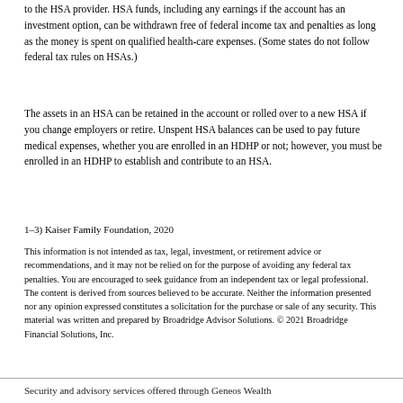to the HSA provider. HSA funds, including any earnings if the account has an investment option, can be withdrawn free of federal income tax and penalties as long as the money is spent on qualified health-care expenses. (Some states do not follow federal tax rules on HSAs.)
The assets in an HSA can be retained in the account or rolled over to a new HSA if you change employers or retire. Unspent HSA balances can be used to pay future medical expenses, whether you are enrolled in an HDHP or not; however, you must be enrolled in an HDHP to establish and contribute to an HSA.
1–3) Kaiser Family Foundation, 2020
This information is not intended as tax, legal, investment, or retirement advice or recommendations, and it may not be relied on for the purpose of avoiding any federal tax penalties. You are encouraged to seek guidance from an independent tax or legal professional. The content is derived from sources believed to be accurate. Neither the information presented nor any opinion expressed constitutes a solicitation for the purchase or sale of any security. This material was written and prepared by Broadridge Advisor Solutions. © 2021 Broadridge Financial Solutions, Inc.
Security and advisory services offered through Geneos Wealth